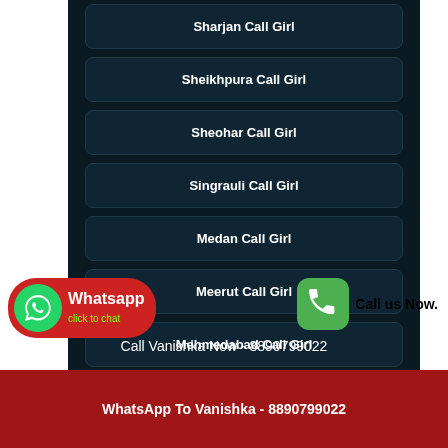Sharjan Call Girl
Sheikhpura Call Girl
Sheohar Call Girl
Singrauli Call Girl
Medan Call Girl
Meerut Call Girl
Mehmedabad Call Girl
Melli Call Girl
Call Vanishka Now - 8890799022
WhatsApp To Vanishka - 8890799022